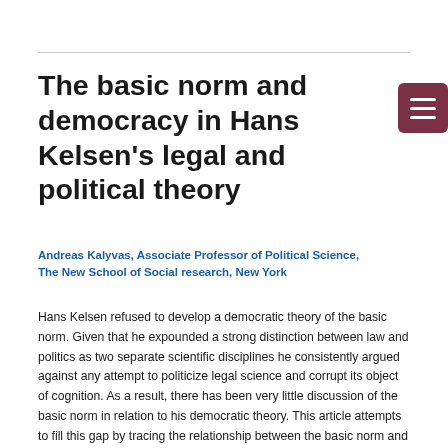The basic norm and democracy in Hans Kelsen's legal and political theory
Andreas Kalyvas, Associate Professor of Political Science, The New School of Social research, New York
Hans Kelsen refused to develop a democratic theory of the basic norm. Given that he expounded a strong distinction between law and politics as two separate scientific disciplines he consistently argued against any attempt to politicize legal science and corrupt its object of cognition. As a result, there has been very little discussion of the basic norm in relation to his democratic theory. This article attempts to fill this gap by tracing the relationship between the basic norm and democracy in Kelsen's legal